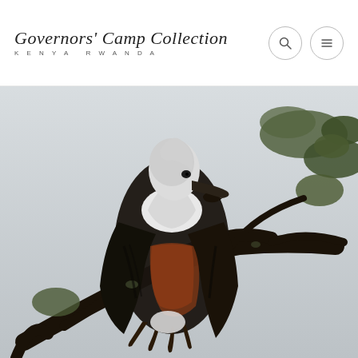Governors' Camp Collection — KENYA RWANDA — website header with search and menu icons
[Figure (photo): Close-up photograph of an African Fish Eagle perched on a bare dark tree branch among green leaves. The bird has a distinctive white head and chest, dark brown/black wings and body, with rust-brown coloring on its sides. The background is an overcast grey sky. The bird's sharp hooked beak is visible in profile. Its large talons grip the branch firmly.]